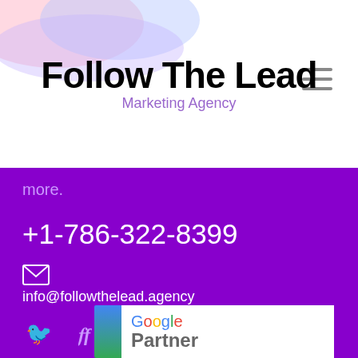[Figure (logo): Follow The Lead Marketing Agency logo with colorful blob shapes in background]
more.
+1-786-322-8399
info@followthelead.agency
[Figure (infographic): Social media icons: Twitter, Facebook, YouTube, Instagram]
[Figure (logo): Google Partner badge with blue sidebar and Google Partner text]